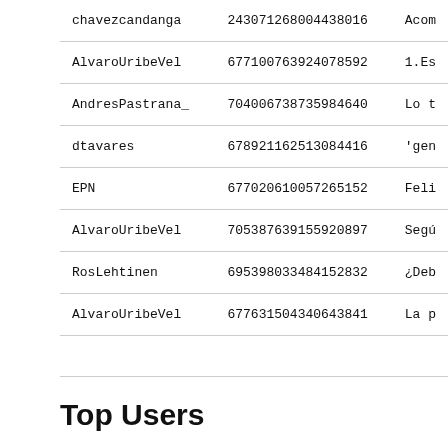| chavezcandanga | 243071268004438016 | Acom |
| AlvaroUribeVel | 677100763924078592 | 1.Es |
| AndresPastrana_ | 704006738735984640 | Lo t |
| dtavares | 678921162513084416 | 'gen |
| EPN | 677020610057265152 | Feli |
| AlvaroUribeVel | 705387639155920897 | Segú |
| RosLehtinen | 695398033484152832 | ¿Deb |
| AlvaroUribeVel | 677631504340643841 | La p |
Top Users